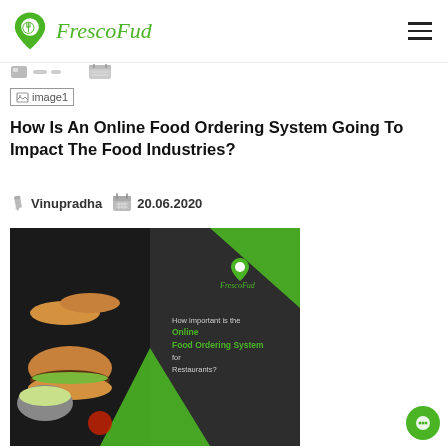[Figure (logo): FrescoFud logo: green location pin icon with fork symbol, followed by italic green FrescoFud text]
[Figure (other): Hamburger menu icon (three horizontal lines) in top right]
[Figure (other): Broken image placeholder labeled image1]
How Is An Online Food Ordering System Going To Impact The Food Industries?
Vinupradha  20.06.2020
[Figure (photo): FrescoFud promotional image showing food items on left (burgers, hot dogs, salads) and dark background on right with green geometric shapes, FrescoFud logo, and text: How important is the Online Food Ordering System for Restaurants?]